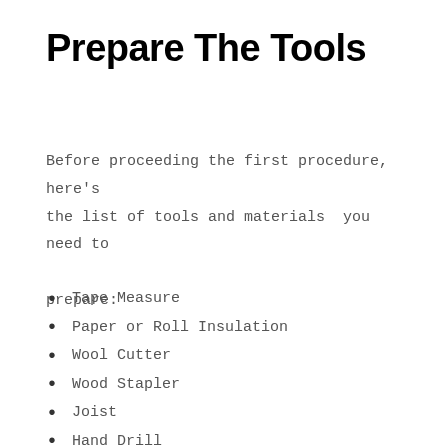Prepare The Tools
Before proceeding the first procedure, here's the list of tools and materials you need to prepare:
Tape Measure
Paper or Roll Insulation
Wool Cutter
Wood Stapler
Joist
Hand Drill
Polystyrene Plates